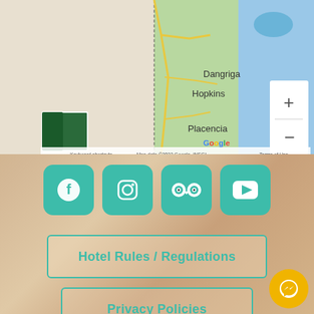[Figure (map): Google Maps showing coastal Belize near Dangriga, Hopkins, and Placencia with zoom controls and satellite thumbnail]
[Figure (infographic): Four teal social media buttons: Facebook, Instagram, TripAdvisor, YouTube]
Hotel Rules / Regulations
Privacy Policies